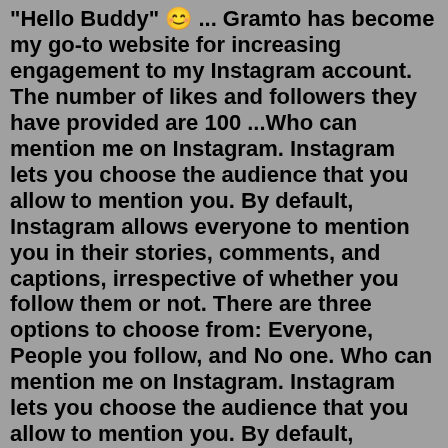"Hello Buddy" 😊 ... Gramto has become my go-to website for increasing engagement to my Instagram account. The number of likes and followers they have provided are 100 ...Who can mention me on Instagram. Instagram lets you choose the audience that you allow to mention you. By default, Instagram allows everyone to mention you in their stories, comments, and captions, irrespective of whether you follow them or not. There are three options to choose from: Everyone, People you follow, and No one. Who can mention me on Instagram. Instagram lets you choose the audience that you allow to mention you. By default, Instagram allows everyone to mention you in their stories, comments, and captions, irrespective of whether you follow them or not. There are three options to choose from: Everyone, People you follow, and No one. Answer (1 of 4): These are my settings, I am sharing some screenshots. After following these steps your messages will come in 3 categories. Primary - Main contacts General - you chat occasionally Others - random DMS from unknown